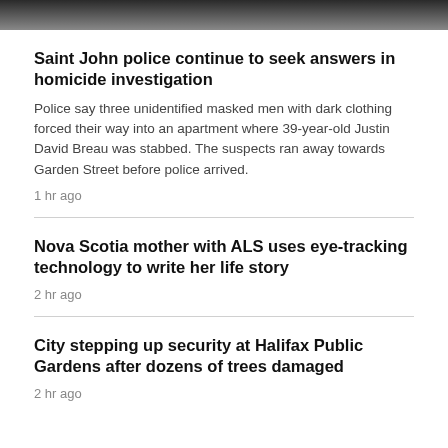[Figure (photo): Partial view of a dark image at top of page, appears to be a news website screenshot with a photo of people or a scene in dark clothing]
Saint John police continue to seek answers in homicide investigation
Police say three unidentified masked men with dark clothing forced their way into an apartment where 39-year-old Justin David Breau was stabbed. The suspects ran away towards Garden Street before police arrived.
1 hr ago
Nova Scotia mother with ALS uses eye-tracking technology to write her life story
2 hr ago
City stepping up security at Halifax Public Gardens after dozens of trees damaged
2 hr ago